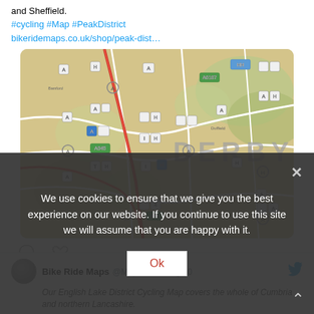and Sheffield.
#cycling #Map #PeakDistrict bikeridemaps.co.uk/shop/peak-dist…
[Figure (map): A cycling map of the Peak District / Derby area showing terrain, roads, and icons. The word DERBY is visible in large grey letters across the map.]
[Figure (other): Comment and like (heart) action icons below the tweet]
Bike Ride Maps @MapsRide · Aug 10
Our English Lake District Cycling Map covers the whole of Cumbria and northern Lancashire.
We use cookies to ensure that we give you the best experience on our website. If you continue to use this site we will assume that you are happy with it.
Ok